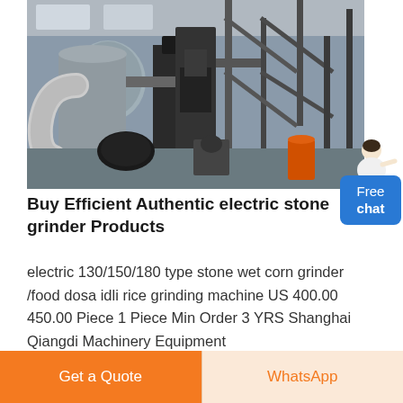[Figure (photo): Industrial machinery inside a large warehouse or factory — stone grinder / milling equipment with large pipes, metal framework, silos and industrial components visible.]
Buy Efficient Authentic electric stone grinder Products
electric 130/150/180 type stone wet corn grinder /food dosa idli rice grinding machine US 400.00 450.00 Piece 1 Piece Min Order 3 YRS Shanghai Qiangdi Machinery Equipment
Get a Quote
WhatsApp